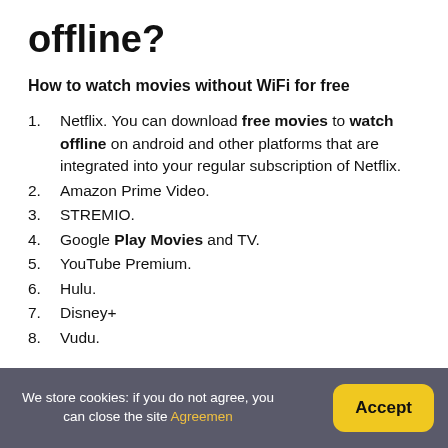offline?
How to watch movies without WiFi for free
Netflix. You can download free movies to watch offline on android and other platforms that are integrated into your regular subscription of Netflix.
Amazon Prime Video.
STREMIO.
Google Play Movies and TV.
YouTube Premium.
Hulu.
Disney+
Vudu.
We store cookies: if you do not agree, you can close the site Agreement